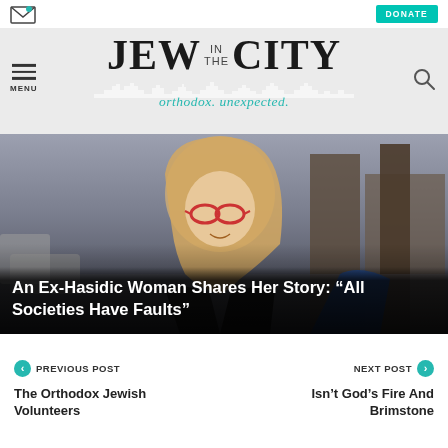Jew in the City — orthodox. unexpected.
[Figure (photo): A woman with long blonde hair and red glasses, smiling, photographed outdoors on a city street, with parked cars and buildings in the background]
An Ex-Hasidic Woman Shares Her Story: “All Societies Have Faults”
PREVIOUS POST
NEXT POST
The Orthodox Jewish Volunteers
Isn’t God’s Fire And Brimstone